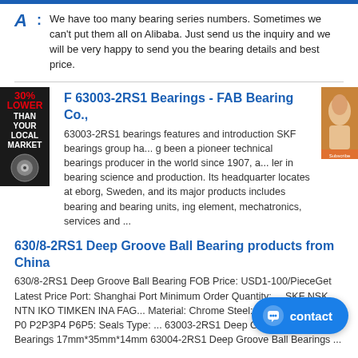A: We have too many bearing series numbers. Sometimes we can't put them all on Alibaba. Just send us the inquiry and we will be very happy to send you the bearing details and best price.
F 63003-2RS1 Bearings - FAB Bearing Co.,
63003-2RS1 bearings features and introduction SKF bearings group ha... g been a pioneer technical bearings producer in the world since 1907, a... ler in bearing science and production. Its headquarter locates at eborg, Sweden, and its major products includes bearing and bearing units, ing element, mechatronics, services and ...
630/8-2RS1 Deep Groove Ball Bearing products from China
630/8-2RS1 Deep Groove Ball Bearing FOB Price: USD1-100/PieceGet Latest Price Port: Shanghai Port Minimum Order Quantity: ... SKF NSK NTN IKO TIMKEN INA FAG... Material: Chrome Steel: Precision Rating: P0 P2P3P4 P6P5: Seals Type: ... 63003-2RS1 Deep Groove Ball Bearings 17mm*35mm*14mm 63004-2RS1 Deep Groove Ball Bearings ...
SKF 63008 2rs1 Deep Groove Ball Bearing - (40x68x21) for
Find many great new & used options and get the best de... 2rs1 Deep Groove Ball Bearing - (40x68x21) at the best o... Free delivery for many products!